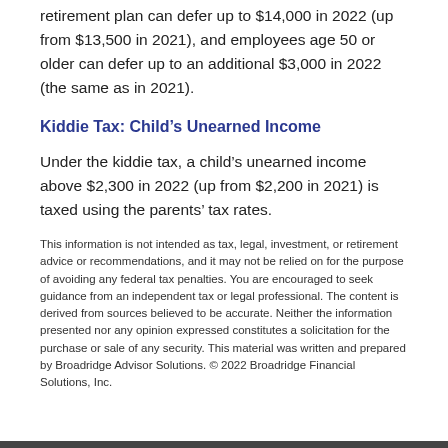retirement plan can defer up to $14,000 in 2022 (up from $13,500 in 2021), and employees age 50 or older can defer up to an additional $3,000 in 2022 (the same as in 2021).
Kiddie Tax: Child’s Unearned Income
Under the kiddie tax, a child’s unearned income above $2,300 in 2022 (up from $2,200 in 2021) is taxed using the parents’ tax rates.
This information is not intended as tax, legal, investment, or retirement advice or recommendations, and it may not be relied on for the purpose of avoiding any federal tax penalties. You are encouraged to seek guidance from an independent tax or legal professional. The content is derived from sources believed to be accurate. Neither the information presented nor any opinion expressed constitutes a solicitation for the purchase or sale of any security. This material was written and prepared by Broadridge Advisor Solutions. © 2022 Broadridge Financial Solutions, Inc.